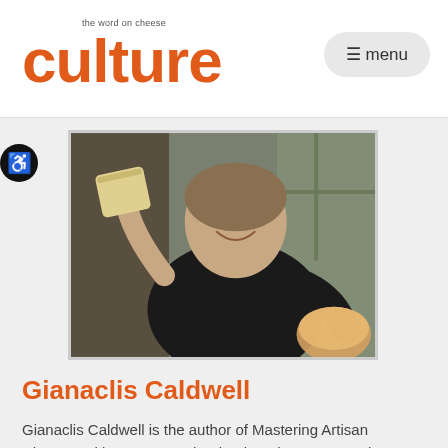culture the word on cheese
[Figure (photo): Woman in black top smiling, holding up a block of cheese, with more cheese on the table in front of her.]
Gianaclis Caldwell
Gianaclis Caldwell is the author of Mastering Artisan Cheesemaking, among other books. She manages the goat herd and cheesemaking operations at Pholia Farm Creamery in Oregon.